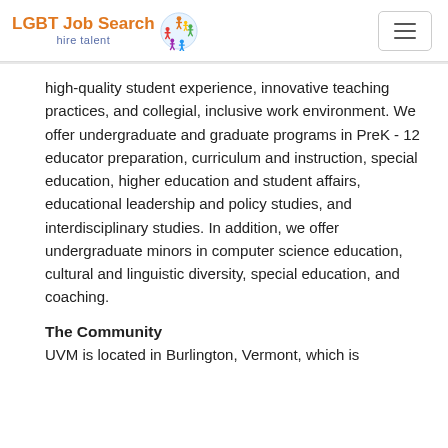LGBT Job Search hire talent
high-quality student experience, innovative teaching practices, and collegial, inclusive work environment. We offer undergraduate and graduate programs in PreK - 12 educator preparation, curriculum and instruction, special education, higher education and student affairs, educational leadership and policy studies, and interdisciplinary studies. In addition, we offer undergraduate minors in computer science education, cultural and linguistic diversity, special education, and coaching.
The Community
UVM is located in Burlington, Vermont, which is